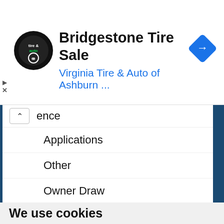[Figure (screenshot): Advertisement banner for Bridgestone Tire Sale at Virginia Tire & Auto of Ashburn with logo and direction icon]
Bridgestone Tire Sale
Virginia Tire & Auto of Ashburn ...
ence
Applications
Other
Owner Draw
Forms
We use cookies
We use cookies and other tracking technologies to improve your browsing experience on our website, to show you personalized content and targeted ads, to analyze our website traffic, and to understand where our visitors are coming from.